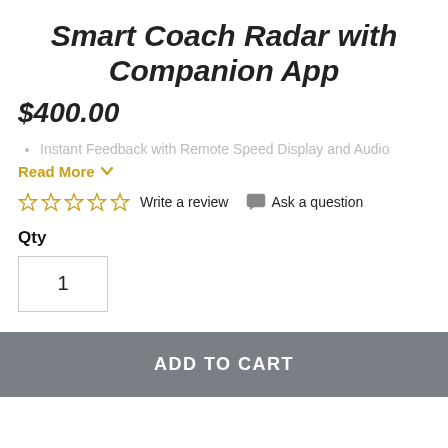Smart Coach Radar with Companion App
$400.00
Instant Feedback with Remote Speed Display and Audio
Read More
Write a review  Ask a question
Qty
1
ADD TO CART